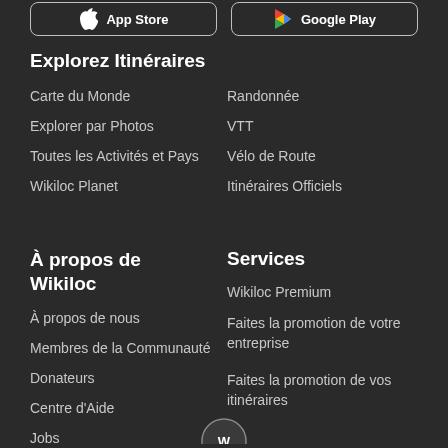[Figure (logo): App Store button with Apple logo]
[Figure (logo): Google Play button with Play Store logo]
Explorez Itinéraires
Carte du Monde
Randonnée
Explorer par Photos
VTT
Toutes les Activités et Pays
Vélo de Route
Wikiloc Planet
Itinéraires Officiels
À propos de Wikiloc
Services
À propos de nous
Wikiloc Premium
Membres de la Communauté
Faites la promotion de votre entreprise
Donateurs
Faites la promotion de vos itinéraires
Centre d'Aide
Jobs
[Figure (logo): Wikiloc circular logo icon at bottom center]